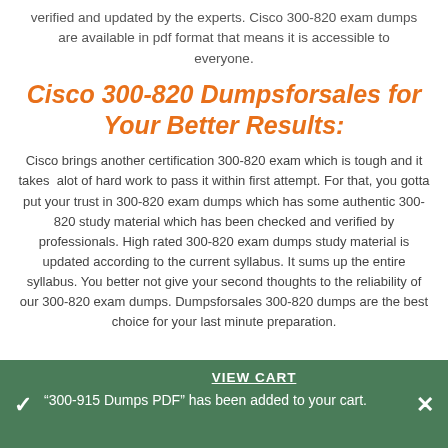verified and updated by the experts. Cisco 300-820 exam dumps are available in pdf format that means it is accessible to everyone.
Cisco 300-820 Dumpsforsales for Your Better Results:
Cisco brings another certification 300-820 exam which is tough and it takes alot of hard work to pass it within first attempt. For that, you gotta put your trust in 300-820 exam dumps which has some authentic 300-820 study material which has been checked and verified by professionals. High rated 300-820 exam dumps study material is updated according to the current syllabus. It sums up the entire syllabus. You better not give your second thoughts to the reliability of our 300-820 exam dumps. Dumpsforsales 300-820 dumps are the best choice for your last minute preparation.
VIEW CART
"300-915 Dumps PDF" has been added to your cart.